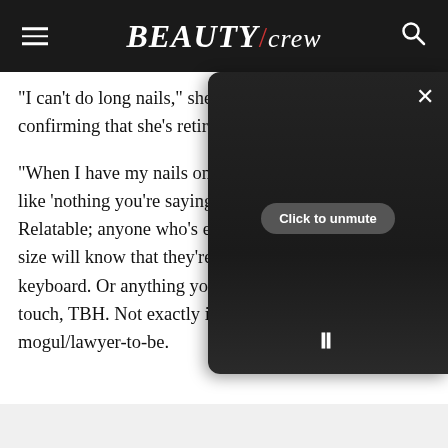BEAUTY/crew
"I can't do long nails," she confes confirming that she's retiring the
"When I have my nails on, everyo like 'nothing you're saying on tex Relatable; anyone who's ever trie size will know that they're no frie keyboard. Or anything you're try touch, TBH. Not exactly ideal for mogul/lawyer-to-be.
[Figure (screenshot): Video overlay popup with X close button, 'Click to unmute' pill button, dark background, and pause icon at bottom]
But what said nail length lacks in practicality, it sure does